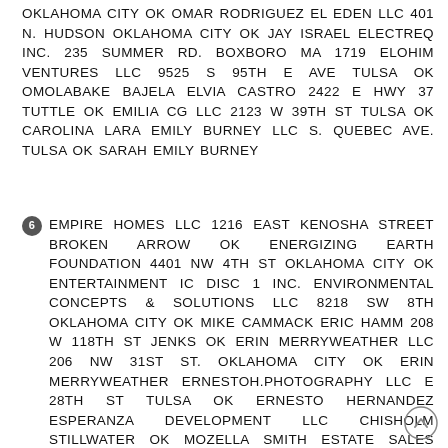OKLAHOMA CITY OK OMAR RODRIGUEZ EL EDEN LLC 401 N. HUDSON OKLAHOMA CITY OK JAY ISRAEL ELECTREQ INC. 235 SUMMER RD. BOXBORO MA 1719 ELOHIM VENTURES LLC 9525 S 95TH E AVE TULSA OK OMOLABAKE BAJELA ELVIA CASTRO 2422 E HWY 37 TUTTLE OK EMILIA CG LLC 2123 W 39TH ST TULSA OK CAROLINA LARA EMILY BURNEY LLC S. QUEBEC AVE. TULSA OK SARAH EMILY BURNEY
6  EMPIRE HOMES LLC 1216 EAST KENOSHA STREET BROKEN ARROW OK ENERGIZING EARTH FOUNDATION 4401 NW 4TH ST OKLAHOMA CITY OK ENTERTAINMENT IC DISC 1 INC. ENVIRONMENTAL CONCEPTS & SOLUTIONS LLC 8218 SW 8TH OKLAHOMA CITY OK MIKE CAMMACK ERIC HAMM 208 W 118TH ST JENKS OK ERIN MERRYWEATHER LLC 206 NW 31ST ST. OKLAHOMA CITY OK ERIN MERRYWEATHER ERNESTOH.PHOTOGRAPHY LLC E 28TH ST TULSA OK ERNESTO HERNANDEZ ESPERANZA DEVELOPMENT LLC CHISHOLM STILLWATER OK MOZELLA SMITH ESTATE SALES PLUS LTD SUE WARREN ETERNAL HEALING MASSAGE LLC 120 N. BRYANT AVE ST. 4A EDMOND OK MAKIA SUTTON ETP LAND SERVICES LLC 3321 OUTPOST CIRCLE NORMAN OK